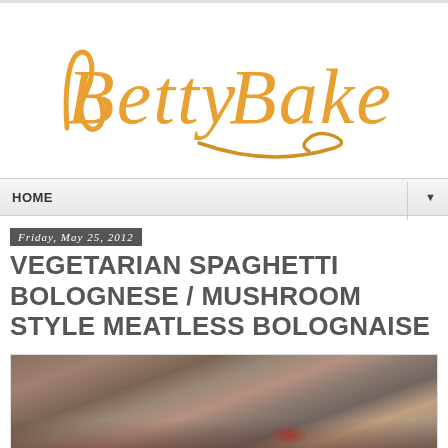[Figure (logo): Betty Bake logo in golden/orange cursive handwritten script font]
HOME
Friday, May 25, 2012
VEGETARIAN SPAGHETTI BOLOGNESE / MUSHROOM STYLE MEATLESS BOLOGNAISE
[Figure (photo): Blurred photo of food dish, appears to be pasta/bolognese, with red element visible at bottom]